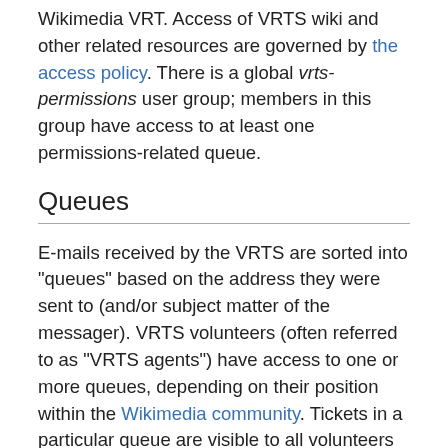Wikimedia VRT. Access of VRTS wiki and other related resources are governed by the access policy. There is a global vrts-permissions user group; members in this group have access to at least one permissions-related queue.
Queues
E-mails received by the VRTS are sorted into "queues" based on the address they were sent to (and/or subject matter of the messager). VRTS volunteers (often referred to as "VRTS agents") have access to one or more queues, depending on their position within the Wikimedia community. Tickets in a particular queue are visible to all volunteers who have access to that queue. The Wikimedia Foundation cannot guarantee confidential treatment of any sensitive information you include in your message, although all volunteers are required to treat it with